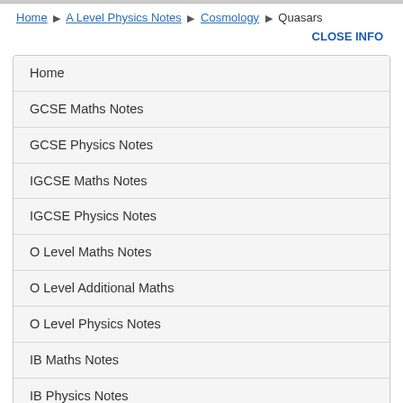Home ▶ A Level Physics Notes ▶ Cosmology ▶ Quasars
CLOSE INFO
Home
GCSE Maths Notes
GCSE Physics Notes
IGCSE Maths Notes
IGCSE Physics Notes
O Level Maths Notes
O Level Additional Maths
O Level Physics Notes
IB Maths Notes
IB Physics Notes
A Level Maths Notes
A Level Physics Notes